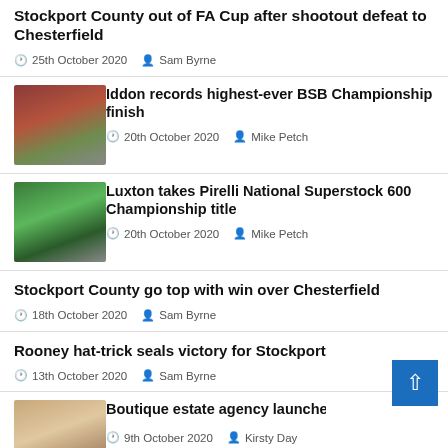Stockport County out of FA Cup after shootout defeat to Chesterfield
25th October 2020  Sam Byrne
[Figure (photo): Motorcyclist racing on track, BSB Championship]
Iddon records highest-ever BSB Championship finish
20th October 2020  Mike Petch
[Figure (photo): Motorcyclist in green racing suit, National Superstock 600]
Luxton takes Pirelli National Superstock 600 Championship title
20th October 2020  Mike Petch
Stockport County go top with win over Chesterfield
18th October 2020  Sam Byrne
Rooney hat-trick seals victory for Stockport
13th October 2020  Sam Byrne
[Figure (photo): Blonde woman, estate agency launch]
Boutique estate agency launches in Ha...
9th October 2020  Kirsty Day